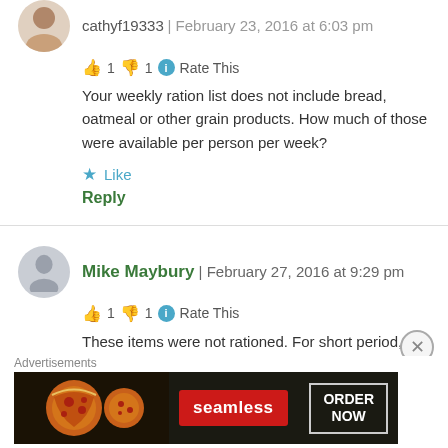cathyf19333 | February 23, 2016 at 6:03 pm
👍 1 👎 1 ℹ Rate This
Your weekly ration list does not include bread, oatmeal or other grain products. How much of those were available per person per week?
★ Like
Reply
Mike Maybury | February 27, 2016 at 9:29 pm
👍 1 👎 1 ℹ Rate This
These items were not rationed. For short period, after the war I think, bread MAY have been rationed.
Advertisements
[Figure (other): Seamless food ordering advertisement banner showing pizza with ORDER NOW button]